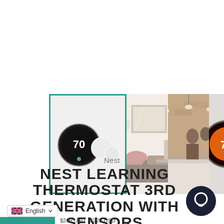[Figure (photo): Product gallery showing Nest Learning Thermostat with sensors. First thumbnail (selected with green border) shows a black round Nest thermostat displaying 70 and two white round sensors. Subsequent images show room scenes and another thermostat view.]
Nest
NEST LEARNING THERMOSTAT 3RD GENERATION WITH SENSORS
English
$269 USD $225 USD